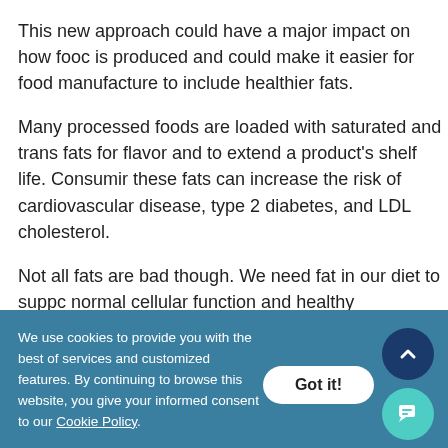This new approach could have a major impact on how food is produced and could make it easier for food manufacturers to include healthier fats.
Many processed foods are loaded with saturated and trans fats for flavor and to extend a product's shelf life. Consuming these fats can increase the risk of cardiovascular disease, type 2 diabetes, and LDL cholesterol.
Not all fats are bad though. We need fat in our diet to support normal cellular function and healthy alternatives, like olive, avocado, and sunflower oils, do exist.
We use cookies to provide you with the best of services and customized features. By continuing to browse this website, you give your informed consent to our Cookie Policy.